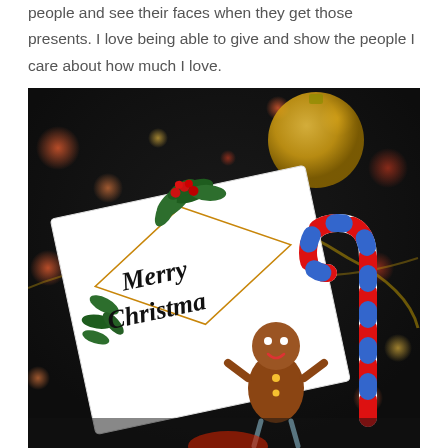people and see their faces when they get those presents. I love being able to give and show the people I care about how much I love.
[Figure (photo): A Christmas photo showing a Merry Christmas greeting card decorated with holly leaves and red berries, a gingerbread man cookie, and a colorful candy cane, set against a bokeh background of Christmas tree ornaments and lights.]